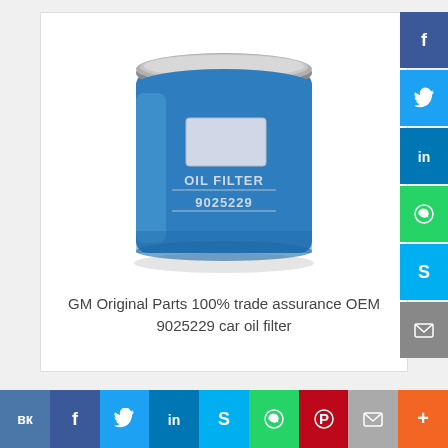[Figure (photo): Blue GM OEM oil filter canister labeled 'OIL FILTER 9025229', cylindrical metal can with silver/grey top rim]
GM Original Parts 100% trade assurance OEM 9025229 car oil filter
[Figure (infographic): Social media sharing sidebar with Facebook, Twitter, LinkedIn, WhatsApp, Skype, Email icon buttons in dark grey/colored boxes]
[Figure (infographic): Bottom social sharing bar with VK, Facebook, Twitter, LinkedIn, Skype, WhatsApp, Pinterest, Email, More buttons in colored boxes]